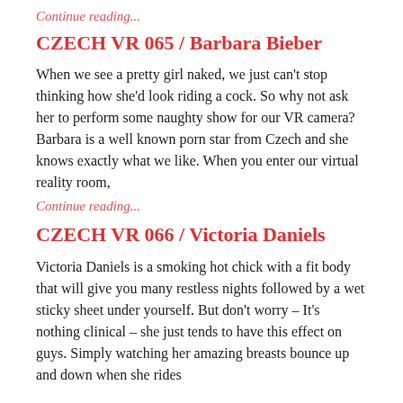Continue reading...
CZECH VR 065 / Barbara Bieber
When we see a pretty girl naked, we just can't stop thinking how she'd look riding a cock. So why not ask her to perform some naughty show for our VR camera? Barbara is a well known porn star from Czech and she knows exactly what we like. When you enter our virtual reality room,
Continue reading...
CZECH VR 066 / Victoria Daniels
Victoria Daniels is a smoking hot chick with a fit body that will give you many restless nights followed by a wet sticky sheet under yourself. But don't worry – It's nothing clinical – she just tends to have this effect on guys. Simply watching her amazing breasts bounce up and down when she rides